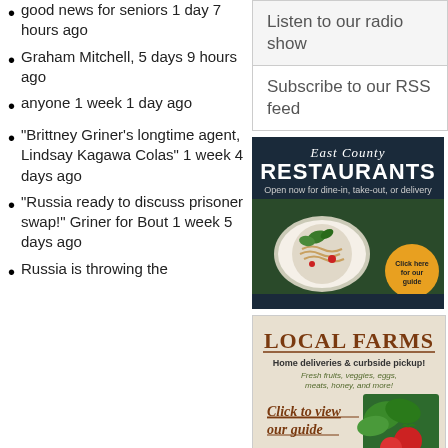good news for seniors 1 day 7 hours ago
Graham Mitchell, 5 days 9 hours ago
anyone 1 week 1 day ago
"Brittney Griner's longtime agent, Lindsay Kagawa Colas" 1 week 4 days ago
"Russia ready to discuss prisoner swap!" Griner for Bout 1 week 5 days ago
Russia is throwing the
Listen to our radio show
Subscribe to our RSS feed
[Figure (infographic): East County Restaurants advertisement: dark background with script and bold white text 'East County RESTAURANTS', subtitle 'Open now for dine-in, take-out, or delivery', food image with bowl, and orange circular button 'Click here for our guide']
[Figure (infographic): Local Farms advertisement: 'LOCAL FARMS' in brown serif bold, 'Home deliveries & curbside pickup!', 'Fresh fruits, veggies, eggs, meats, honey, and more!', 'Click to view our guide' in italic underlined, with vegetable/tomato image]